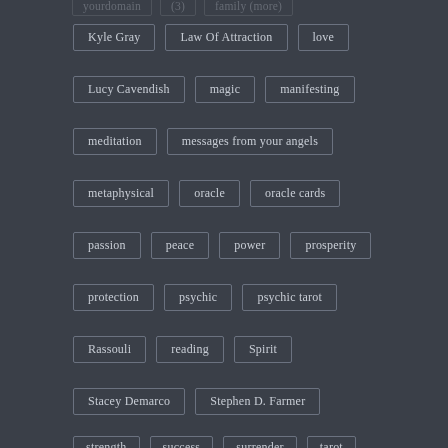Kyle Gray
Law Of Attraction
love
Lucy Cavendish
magic
manifesting
meditation
messages from your angels
metaphysical
oracle
oracle cards
passion
peace
power
prosperity
protection
psychic
psychic tarot
Rassouli
reading
Spirit
Stacey Demarco
Stephen D. Farmer
strength
success
surrender
tarot
Toni Carmine Salerno
transformation
trust
truth
Universal Wisdom